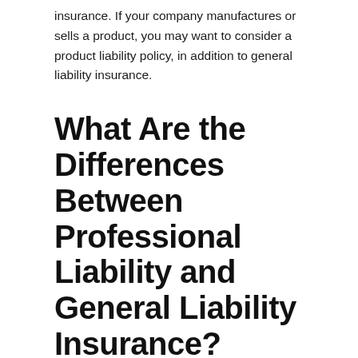insurance. If your company manufactures or sells a product, you may want to consider a product liability policy, in addition to general liability insurance.
What Are the Differences Between Professional Liability and General Liability Insurance?
These two types of liability insurance cover different types of exposure. Professional liability insurance is